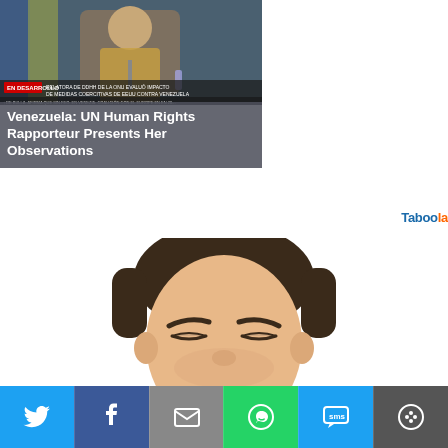[Figure (photo): News screenshot showing a TV broadcast with a woman at a podium, with ticker text in Spanish: 'EN DESARROLLO - RELATORA DE DDHH DE LA ONU EVALUÓ IMPACTO DE MEDIDAS COERCITIVAS DE EEUU CONTRA VENEZUELA']
Venezuela: UN Human Rights Rapporteur Presents Her Observations
Taboola
[Figure (illustration): Cartoon/illustration of a man with dark hair, eyes shut tight, appearing to sneeze or cry, holding something white (tissue) up to his face.]